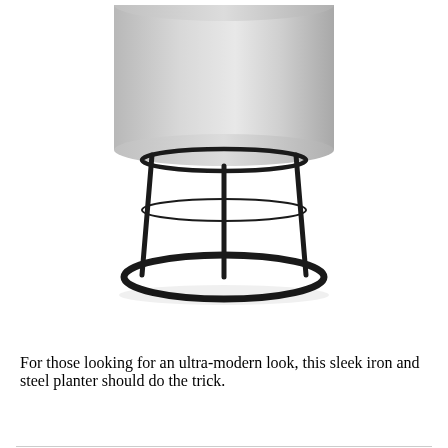[Figure (photo): A modern cylindrical metal planter with a brushed silver/steel finish, sitting on a sleek black iron wire frame stand with three vertical legs and a circular base ring.]
For those looking for an ultra-modern look, this sleek iron and steel planter should do the trick.